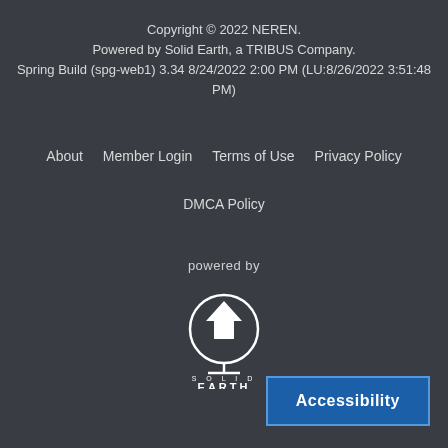Copyright © 2022 NEREN.
Powered by Solid Earth, a TRIBUS Company.
Spring Build (spg-web1) 3.34 8/24/2022 2:00 PM (LU:8/26/2022 3:51:48 PM)
About   Member Login   Terms of Use   Privacy Policy
DMCA Policy
[Figure (logo): Solid Earth logo — circle with house/chevron icon above a globe stand, with 'SOLID EARTH' text below. Preceded by 'powered by' text.]
Accessibility